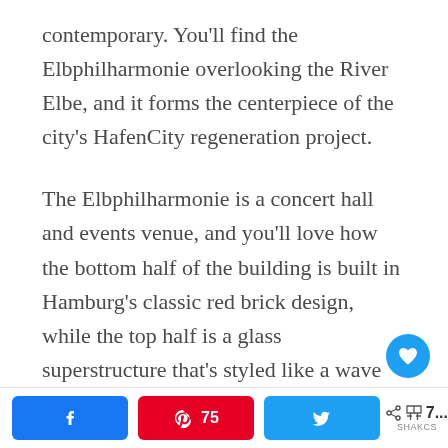contemporary. You’ll find the Elbphilharmonie overlooking the River Elbe, and it forms the centerpiece of the city’s HafenCity regeneration project.
The Elbphilharmonie is a concert hall and events venue, and you’ll love how the bottom half of the building is built in Hamburg’s classic red brick design, while the top half is a glass superstructure that’s styled like a wave
Facebook share | Pinterest 75 | Twitter share | 7... SHAKcS